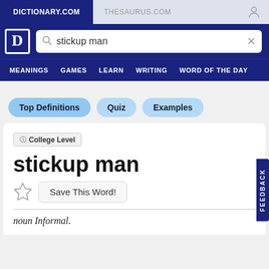DICTIONARY.COM | THESAURUS.COM
[Figure (screenshot): Dictionary.com logo with white D on dark blue background]
stickup man (search query)
MEANINGS  GAMES  LEARN  WRITING  WORD OF THE DAY
Top Definitions
Quiz
Examples
🛈 College Level
stickup man
Save This Word!
noun Informal.